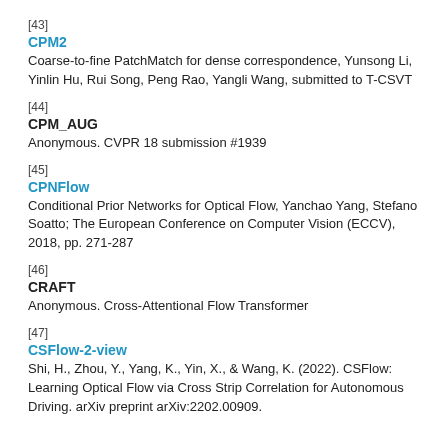[43]
CPM2
Coarse-to-fine PatchMatch for dense correspondence, Yunsong Li, Yinlin Hu, Rui Song, Peng Rao, Yangli Wang, submitted to T-CSVT
[44]
CPM_AUG
Anonymous. CVPR 18 submission #1939
[45]
CPNFlow
Conditional Prior Networks for Optical Flow, Yanchao Yang, Stefano Soatto; The European Conference on Computer Vision (ECCV), 2018, pp. 271-287
[46]
CRAFT
Anonymous. Cross-Attentional Flow Transformer
[47]
CSFlow-2-view
Shi, H., Zhou, Y., Yang, K., Yin, X., & Wang, K. (2022). CSFlow: Learning Optical Flow via Cross Strip Correlation for Autonomous Driving. arXiv preprint arXiv:2202.00909.